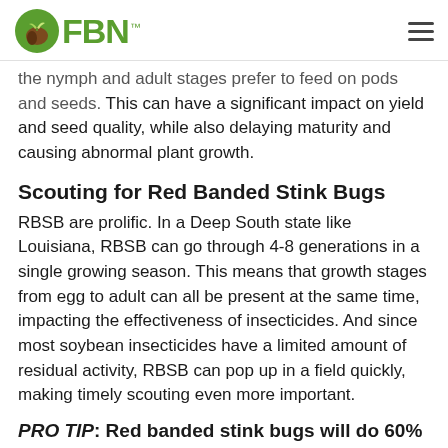FBN
the nymph and adult stages prefer to feed on pods and seeds. This can have a significant impact on yield and seed quality, while also delaying maturity and causing abnormal plant growth.
Scouting for Red Banded Stink Bugs
RBSB are prolific. In a Deep South state like Louisiana, RBSB can go through 4-8 generations in a single growing season. This means that growth stages from egg to adult can all be present at the same time, impacting the effectiveness of insecticides. And since most soybean insecticides have a limited amount of residual activity, RBSB can pop up in a field quickly, making timely scouting even more important.
PRO TIP: Red banded stink bugs will do 60% of their feeding in the bottom two-thirds of